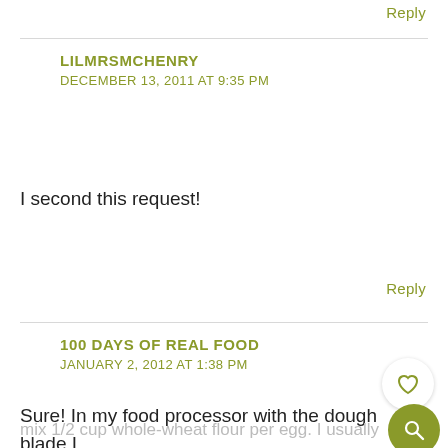Reply
LILMRSMCHENRY
DECEMBER 13, 2011 AT 9:35 PM
I second this request!
Reply
100 DAYS OF REAL FOOD
JANUARY 2, 2012 AT 1:38 PM
Sure! In my food processor with the dough blade I
mix 1/2 cup whole-wheat flour per egg. I usually make 2 – 3 egg's worth for our family of four. You